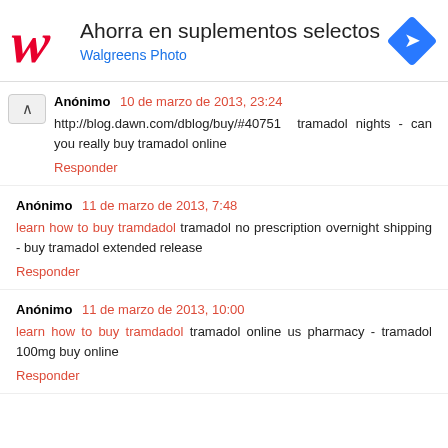[Figure (other): Walgreens advertisement banner with logo, text 'Ahorra en suplementos selectos' and 'Walgreens Photo', and a blue diamond navigation icon]
Anónimo  10 de marzo de 2013, 23:24
http://blog.dawn.com/dblog/buy/#40751  tramadol nights - can you really buy tramadol online
Responder
Anónimo  11 de marzo de 2013, 7:48
learn how to buy tramdadol  tramadol no prescription overnight shipping - buy tramadol extended release
Responder
Anónimo  11 de marzo de 2013, 10:00
learn how to buy tramdadol  tramadol online us pharmacy - tramadol 100mg buy online
Responder